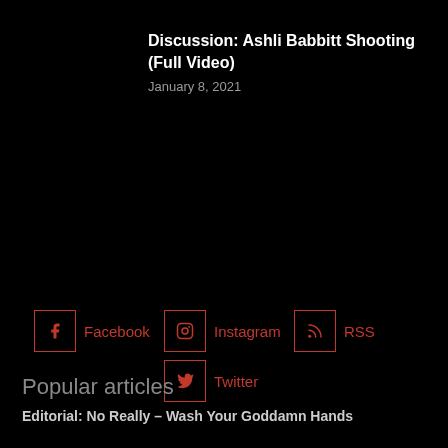Discussion: Ashli Babbitt Shooting (Full Video)
January 8, 2021
[Figure (other): Social media links row with Facebook, Instagram, RSS, and Twitter icons with red outlined square boxes]
Popular articles
Editorial: No Really – Wash Your Goddamn Hands